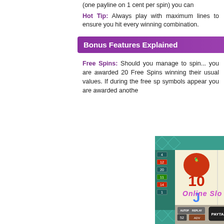(one payline on 1 cent per spin) you can...
Hot Tip: Always play with maximum lines to ensure you hit every winning combination.
Bonus Features Explained
Free Spins: Should you manage to spin... you are awarded 20 Free Spins winning... their usual values. If during the free sp... symbols appear you are awarded anothe...
[Figure (screenshot): Congo Cash online slot machine game screenshot showing reels with symbols including 10, 9, J, A and other slot symbols, with payline numbers on the left side and control buttons at the bottom including AUTOPLAY, REPLAY, PAYTABLE, and LINES controls.]